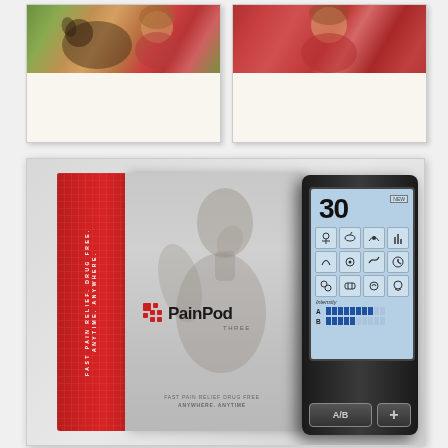[Figure (photo): Two polaroid-style photo cards side by side showing people with a dog (left) and a person in red clothing outdoors (right)]
[Figure (photo): PainPod Three product box and device. Box has red side panel with text 'FAST PAIN RELIEF. DRUG FREE. ANYTIME. ANYWHERE.' and white front panel showing PainPod Three logo. The device (TENS unit) is shown to the right with a touchscreen display showing number 30, a grid of mode icons, intensity bars labeled A and B, and A/B and + buttons at bottom. Tagline reads 'FAST PAIN RELIEF DRUG FREE ANYWHERE. ANYTIME']